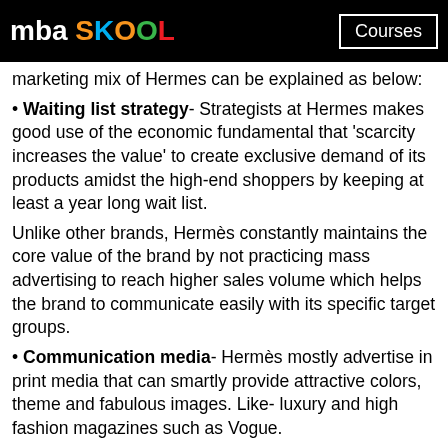mba SKOOL  Courses
marketing mix of Hermes can be explained as below:
• Waiting list strategy- Strategists at Hermes makes good use of the economic fundamental that 'scarcity increases the value' to create exclusive demand of its products amidst the high-end shoppers by keeping at least a year long wait list.
Unlike other brands, Hermès constantly maintains the core value of the brand by not practicing mass advertising to reach higher sales volume which helps the brand to communicate easily with its specific target groups.
• Communication media- Hermès mostly advertise in print media that can smartly provide attractive colors, theme and fabulous images. Like- luxury and high fashion magazines such as Vogue.
• Celebrity endorsement- Hermès uses this tool to create